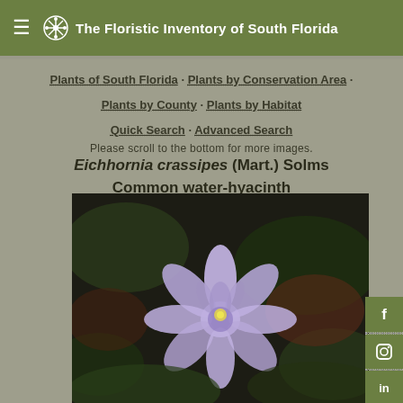The Floristic Inventory of South Florida
Plants of South Florida · Plants by Conservation Area · Plants by County · Plants by Habitat · Quick Search · Advanced Search
Please scroll to the bottom for more images.
Eichhornia crassipes (Mart.) Solms
Common water-hyacinth
[Figure (photo): Close-up photograph of a water hyacinth (Eichhornia crassipes) flower with light purple/lavender petals, surrounded by dark green lily pad foliage and dark water background.]